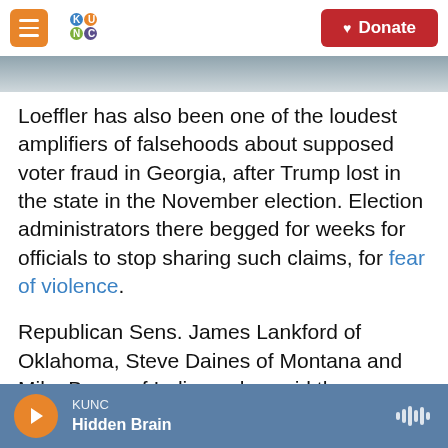KUNC | Donate
Loeffler has also been one of the loudest amplifiers of falsehoods about supposed voter fraud in Georgia, after Trump lost in the state in the November election. Election administrators there begged for weeks for officials to stop sharing such claims, for fear of violence.
Republican Sens. James Lankford of Oklahoma, Steve Daines of Montana and Mike Braun of Indiana also said they no longer plan to object to any state's results.
But Sens. Josh Hawley, R-Mo., and Roger Marshall,
KUNC | Hidden Brain